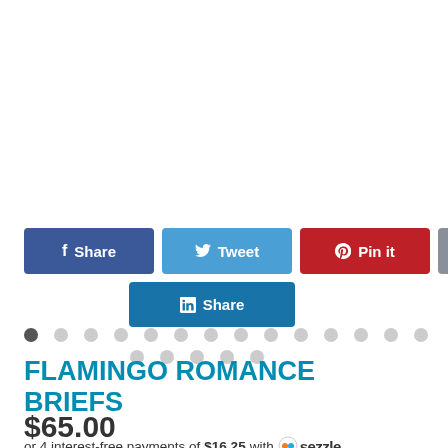[Figure (other): Image carousel dot indicators: 14 dots in first row (first dot dark/active, rest light gray), 5 dots in second row (all light gray)]
[Figure (other): Social share buttons: Facebook Share (dark blue), Tweet (light blue), Pin it (red), mail (gray) in first row; LinkedIn Share (blue) centered in second row]
FLAMINGO ROMANCE BRIEFS
$65.00
or 4 interest-free payments of $16.25 with sezzle